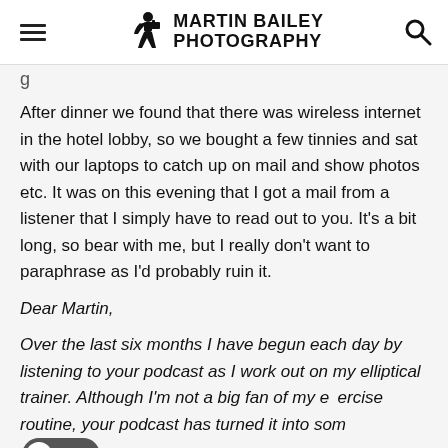Martin Bailey Photography
g
After dinner we found that there was wireless internet in the hotel lobby, so we bought a few tinnies and sat with our laptops to catch up on mail and show photos etc. It was on this evening that I got a mail from a listener that I simply have to read out to you. It’s a bit long, so bear with me, but I really don’t want to paraphrase as I’d probably ruin it.
Dear Martin,
Over the last six months I have begun each day by listening to your podcast as I work out on my elliptical trainer. Although I’m not a big fan of my exercise routine, your podcast has turned it into something that I look forward to every morning. Whether you